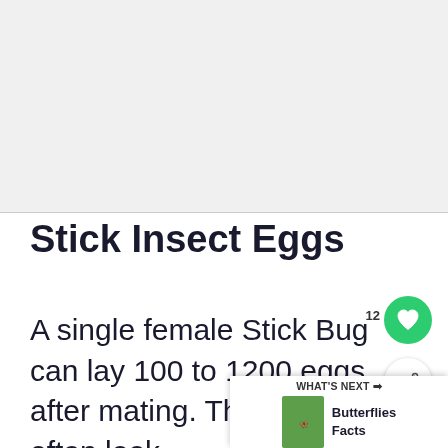[Figure (photo): Light gray placeholder area representing an image of stick insect eggs]
Stick Insect Eggs
A single female Stick Bug can lay 100 to 1200 eggs after mating. These eggs often look